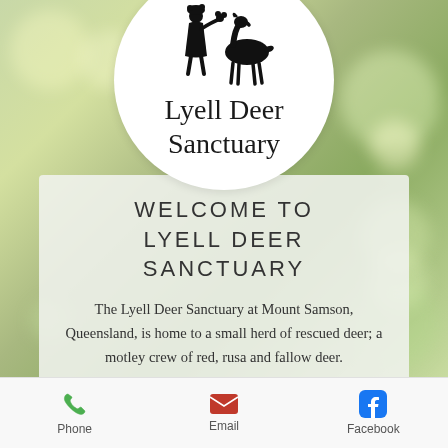[Figure (logo): Lyell Deer Sanctuary logo: white circle with black silhouette of a girl feeding a deer, and cursive text 'Lyell Deer Sanctuary']
WELCOME TO LYELL DEER SANCTUARY
The Lyell Deer Sanctuary at Mount Samson, Queensland, is home to a small herd of rescued deer; a motley crew of red, rusa and fallow deer.
Phone   Email   Facebook